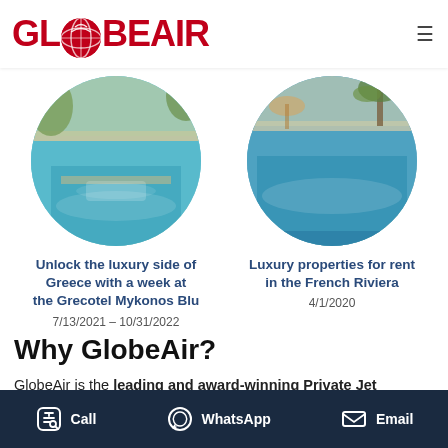GlobeAir
[Figure (photo): Circular cropped photo of a luxury pool in Greece, turquoise water with stone surroundings]
Unlock the luxury side of Greece with a week at the Grecotel Mykonos Blu
7/13/2021 – 10/31/2022
[Figure (photo): Circular cropped photo of a luxury pool on the French Riviera, blue water with palm trees]
Luxury properties for rent in the French Riviera
4/1/2020
Why GlobeAir?
GlobeAir is the leading and award-winning Private Jet Operator in Europe offering on-demand charter flights at competitive rates. To make sure that you receive the excellent service you deserve, we are available for you 24/7
Call  WhatsApp  Email